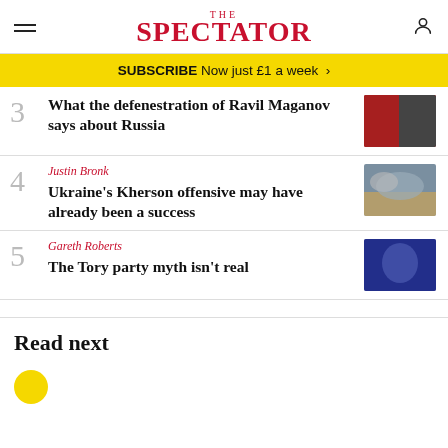THE SPECTATOR
SUBSCRIBE Now just £1 a week >
3 What the defenestration of Ravil Maganov says about Russia
4 Justin Bronk — Ukraine's Kherson offensive may have already been a success
5 Gareth Roberts — The Tory party myth isn't real
Read next